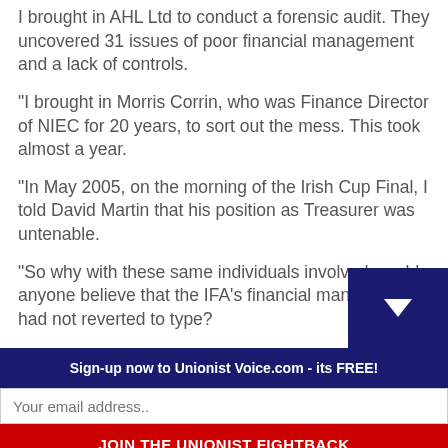I brought in AHL Ltd to conduct a forensic audit. They uncovered 31 issues of poor financial management and a lack of controls.
“I brought in Morris Corrin, who was Finance Director of NIEC for 20 years, to sort out the mess. This took almost a year.
“In May 2005, on the morning of the Irish Cup Final, I told David Martin that his position as Treasurer was untenable.
“So why with these same individuals involved would anyone believe that the IFA’s financial management had not reverted to type?
Sign-up now to Unionist Voice.com - its FREE!
Your email address..
JOIN THE UNIONIST FIGHTBACK